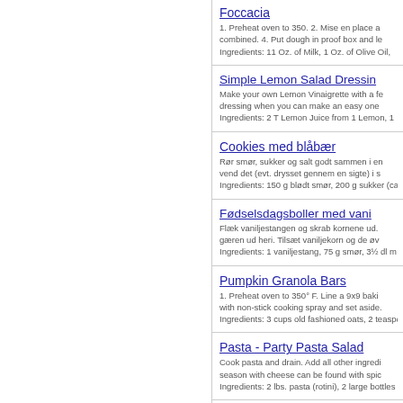Foccacia
Breakfast -
1. Preheat oven to 350. 2. Mise en place a... combined. 4. Put dough in proof box and le...
Ingredients: 11 Oz. of Milk, 1 Oz. of Olive Oil,
Simple Lemon Salad Dressin...
Make your own Lemon Vinaigrette with a fe... dressing when you can make an easy one...
Ingredients: 2 T Lemon Juice from 1 Lemon, 1...
Cookies med blåbær
Rør smør, sukker og salt godt sammen i en... vend det (evt. drysset gennem en sigte) i s...
Ingredients: 150 g blødt smør, 200 g sukker (ca
Fødselsdagsboller med vanil...
Flæk vaniljestangen og skrab kornene ud.... gæren ud heri. Tilsæt vaniljekorn og de øv...
Ingredients: 1 vaniljestang, 75 g smør, 3½ dl m
Pumpkin Granola Bars
1. Preheat oven to 350° F. Line a 9x9 baki... with non-stick cooking spray and set aside.
Ingredients: 3 cups old fashioned oats, 2 teaspo
Pasta - Party Pasta Salad
Cook pasta and drain. Add all other ingredi... season with cheese can be found with spic...
Ingredients: 2 lbs. pasta (rotini), 2 large bottles